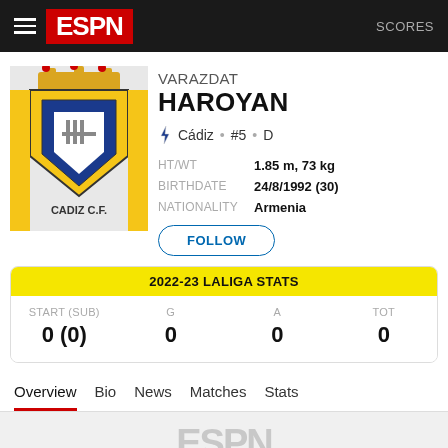ESPN • SCORES
VARAZDAT HAROYAN
Cádiz • #5 • D
HT/WT 1.85 m, 73 kg
BIRTHDATE 24/8/1992 (30)
NATIONALITY Armenia
FOLLOW
| 2022-23 LALIGA STATS |
| --- |
| START (SUB) | G | A | TOT |
| 0 (0) | 0 | 0 | 0 |
Overview  Bio  News  Matches  Stats